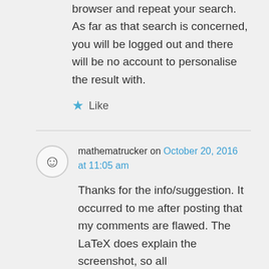browser and repeat your search. As far as that search is concerned, you will be logged out and there will be no account to personalise the result with.
★ Like
mathematrucker on October 20, 2016 at 11:05 am
Thanks for the info/suggestion. It occurred to me after posting that my comments are flawed. The LaTeX does explain the screenshot, so all